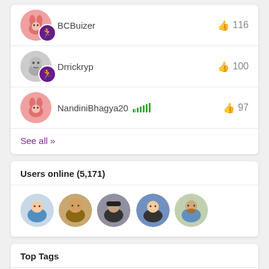[Figure (other): User listing card with BCBuizer (116 likes), Drrickryp (100 likes), NandiniBhagya20 (97 likes), and See all >> link]
Users online (5,171)
[Figure (other): Five circular user avatar photos for online users]
Top Tags
PowerApps
SharePoint
Gallery
filter